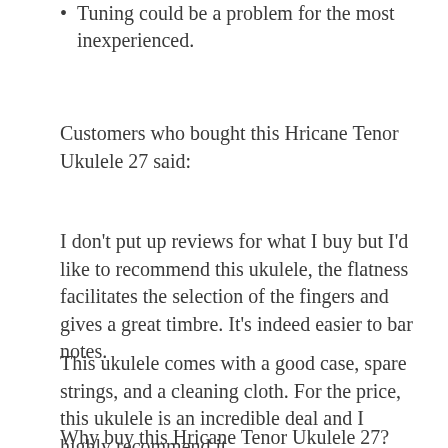Tuning could be a problem for the most inexperienced.
Customers who bought this Hricane Tenor Ukulele 27 said:
I don't put up reviews for what I buy but I'd like to recommend this ukulele, the flatness facilitates the selection of the fingers and gives a great timbre. It's indeed easier to bar notes.
This ukulele comes with a good case, spare strings, and a cleaning cloth. For the price, this ukulele is an incredible deal and I highly recommend it.
Why buy this Hricane Tenor Ukulele 27?